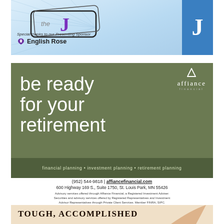[Figure (illustration): Top advertisement banner for 'the J' event with English Rose as Presenting Sponsor. Features a blue J logo box on the right side against a light blue background.]
[Figure (illustration): Affiance Financial advertisement on olive/sage green background. Large white text reads 'be ready for your retirement'. Tagline: 'financial planning • investment planning • retirement planning'. Contact: (952) 544-9818 | affiancefinancial.com, 600 Highway 169 S., Suite 1750, St. Louis Park, MN 55426. Disclaimer about advisory services through Affiance Financial, a Registered Investment Adviser.]
[Figure (illustration): Bottom partial advertisement with tan/cream background showing 'TOUGH, ACCOMPLISHED' in bold serif text.]
We use cookies on our website to give you the most relevant experience by remembering your preferences